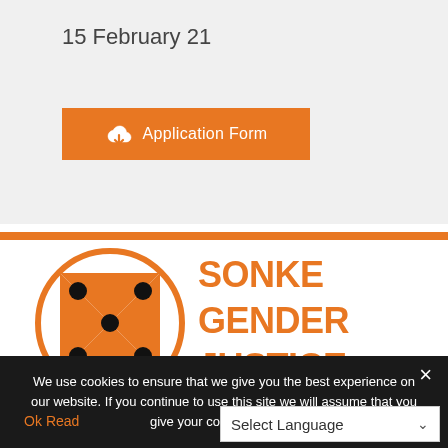15 February 21
Application Form
[Figure (logo): Sonke Gender Justice logo — orange circle with black dots and orange dice shape inside, with orange text SONKE GENDER JUSTICE]
We use cookies to ensure that we give you the best experience on our website. If you continue to use this site we will assume that you give your consent for this.
Ok  Read